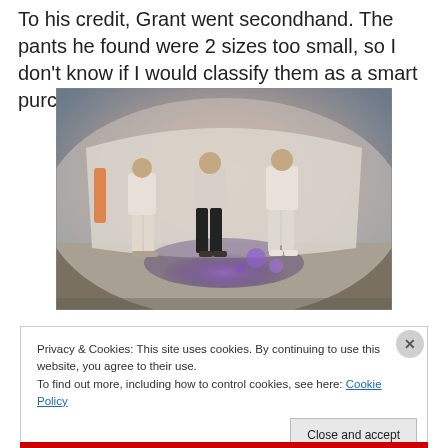To his credit, Grant went secondhand. The pants he found were 2 sizes too small, so I don't know if I would classify them as a smart purchase. He
[Figure (photo): Three men standing in front of a curved futuristic-looking structure with purple lighting. The men are wearing light-colored and dark clothing.]
Privacy & Cookies: This site uses cookies. By continuing to use this website, you agree to their use.
To find out more, including how to control cookies, see here: Cookie Policy
Close and accept